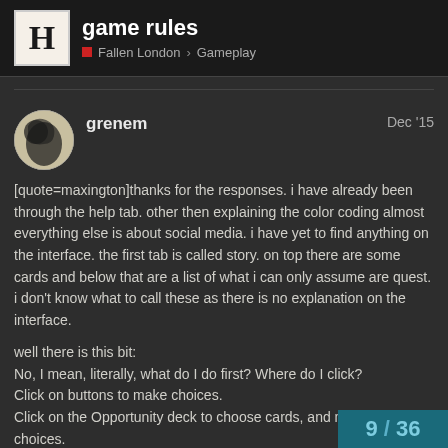game rules — Fallen London Gameplay
grenem   Dec '15
[quote=maxington]thanks for the responses. i have already been through the help tab. other then explaining the color coding almost everything else is about social media. i have yet to find anything on the interface. the first tab is called story. on top there are some cards and below that are a list of what i can only assume are quest. i don't know what to call these as there is no explanation on the interface.

well there is this bit:
No, I mean, literally, what do I do first? Where do I click?
Click on buttons to make choices.
Click on the Opportunity deck to choose cards, and make more choices.
Click on the Myself tab to see what you've
Click on the Bazaar tab to sell things and t
9 / 36